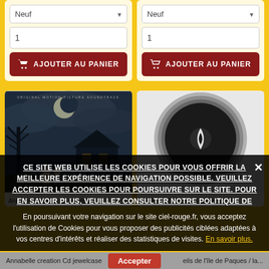[Figure (screenshot): Two e-commerce product cards showing dropdown 'Neuf', quantity field '1', and 'AJOUTER AU PANIER' button]
[Figure (screenshot): Two product image cards: left shows Annabelle movie soundtrack album art, right shows a dark circular vinyl/logo image]
CE SITE WEB UTILISE LES COOKIES POUR VOUS OFFRIR LA MEILLEURE EXPÉRIENCE DE NAVIGATION POSSIBLE. VEUILLEZ ACCEPTER LES COOKIES POUR POURSUIVRE SUR LE SITE. POUR EN SAVOIR PLUS, VEUILLEZ CONSULTER NOTRE POLITIQUE DE
En poursuivant votre navigation sur le site ciel-rouge.fr, vous acceptez l'utilisation de Cookies pour vous proposer des publicités ciblées adaptées à vos centres d'intérêts et réaliser des statistiques de visites. En savoir plus.
Annabelle creation Cd jewelcase
... eils de l'île de Paques / la...